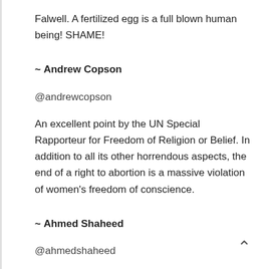Falwell. A fertilized egg is a full blown human being! SHAME!
~ Andrew Copson
@andrewcopson
An excellent point by the UN Special Rapporteur for Freedom of Religion or Belief. In addition to all its other horrendous aspects, the end of a right to abortion is a massive violation of women's freedom of conscience.
~ Ahmed Shaheed
@ahmedshaheed